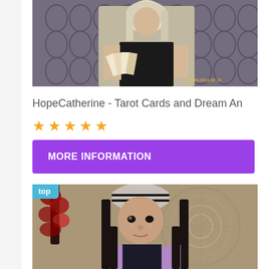[Figure (photo): Photo of a blonde woman holding tarot cards in front of a patterned wallpaper background. A timestamp reading 08/01/2016 02:15 appears in yellow at the bottom right.]
HopeCatherine - Tarot Cards and Dream An...
★★★★★ (5-star rating shown in gold stars)
MORE INFORMATION
[Figure (photo): Photo of a young woman wearing a striped beanie hat and purple jacket, with long dark hair, standing in front of a colorful mandala tapestry. A 'top' badge appears in the upper left corner in teal/blue.]